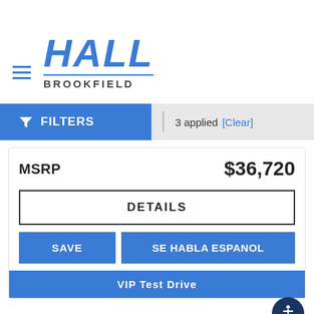[Figure (logo): Hall Brookfield dealership logo with hamburger menu icon]
FILTERS | 3 applied [Clear]
| MSRP | $36,720 |
| --- | --- |
DETAILS
SAVE
SE HABLA ESPANOL
VIP Test Drive
[Figure (illustration): Car/inventory icon]
inventory